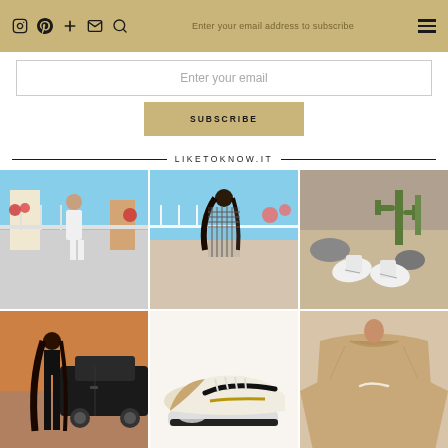Instagram Pinterest + Mail Search | Enter your email address to subscribe | Menu
Enter your email
SUBSCRIBE
LIKETOKNOW.IT
[Figure (photo): Woman in white tennis dress jumping outdoors with flowers and blue sky]
[Figure (photo): Woman with dark hair in checkered blazer outdoors near pink flowers]
[Figure (photo): Close-up of feet in white sneakers near cacti and rocks]
[Figure (photo): Woman in black leather pants next to a black car]
[Figure (photo): Nike Air Max sneaker in tan/gold colorway on white background]
[Figure (photo): Woman in tan/beige Nike crewneck sweatshirt]